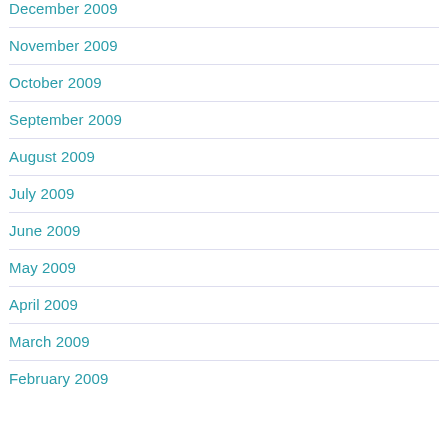December 2009
November 2009
October 2009
September 2009
August 2009
July 2009
June 2009
May 2009
April 2009
March 2009
February 2009